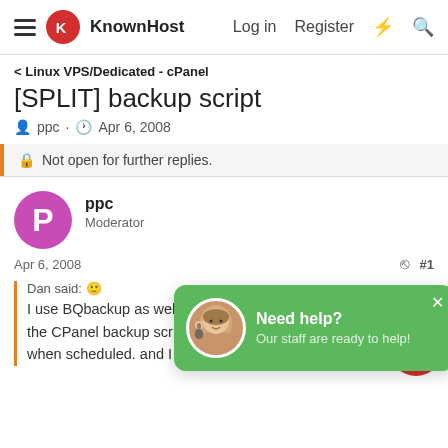KnownHost — Log in | Register
< Linux VPS/Dedicated - cPanel
[SPLIT] backup script
ppc · Apr 6, 2008
Not open for further replies.
ppc
Moderator
Apr 6, 2008
Need help?
Our staff are ready to help!
Dan said:
I use BQbackup as well and have written a script simply runs the CPanel backup script, tars a couple things and is run by cron when scheduled. and I would be happy to share it.